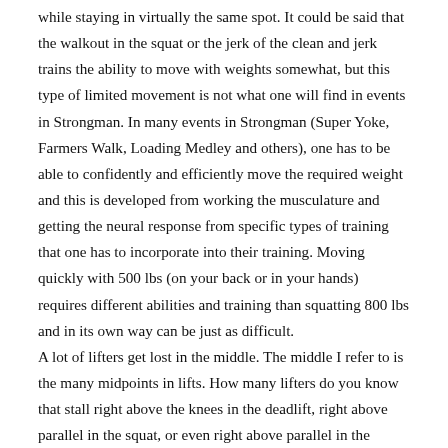while staying in virtually the same spot. It could be said that the walkout in the squat or the jerk of the clean and jerk trains the ability to move with weights somewhat, but this type of limited movement is not what one will find in events in Strongman. In many events in Strongman (Super Yoke, Farmers Walk, Loading Medley and others), one has to be able to confidently and efficiently move the required weight and this is developed from working the musculature and getting the neural response from specific types of training that one has to incorporate into their training. Moving quickly with 500 lbs (on your back or in your hands) requires different abilities and training than squatting 800 lbs and in its own way can be just as difficult. A lot of lifters get lost in the middle. The middle I refer to is the many midpoints in lifts. How many lifters do you know that stall right above the knees in the deadlift, right above parallel in the squat, or even right above parallel in the barbell curl? All those points are difficult places to be and are the sticking points for many lifters. Another potential source of difficulty (and of course if trained for, another potential source of success) in Strongman is that the range of motion for the